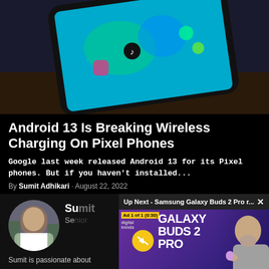[Figure (photo): A smartphone with a colorful animated screen showing social media app icons including TikTok and Instagram, photographed at an angle on a dark surface.]
Android 13 Is Breaking Wireless Charging On Pixel Phones
Google last week released Android 13 for its Pixel phones. But if you haven't installed...
By Sumit Adhikari · August 22, 2022
[Figure (photo): Bottom section with author Sumit's circular profile photo on the left and an 'Up Next' video panel on the right showing a Samsung Galaxy Buds 2 Pro advertisement with a presenter holding the earbuds.]